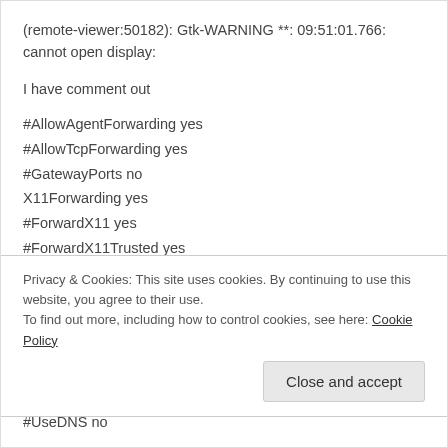(remote-viewer:50182): Gtk-WARNING **: 09:51:01.766: cannot open display:
I have comment out
#AllowAgentForwarding yes
#AllowTcpForwarding yes
#GatewayPorts no
X11Forwarding yes
#ForwardX11 yes
#ForwardX11Trusted yes
#X11DisplayOffset 10
#X11UseLocalhost yes
#PermitTTY yes
#PrintMotd no
Privacy & Cookies: This site uses cookies. By continuing to use this website, you agree to their use.
To find out more, including how to control cookies, see here: Cookie Policy
Close and accept
#UseDNS no